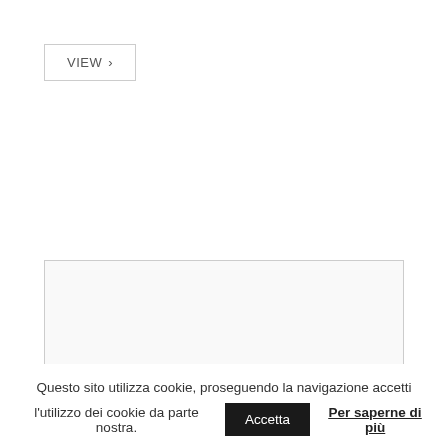VIEW >
[Figure (illustration): Placeholder image box with a mountain/landscape icon and 'NO IMAGE' text]
Questo sito utilizza cookie, proseguendo la navigazione accetti l'utilizzo dei cookie da parte nostra. Accetta Per saperne di più